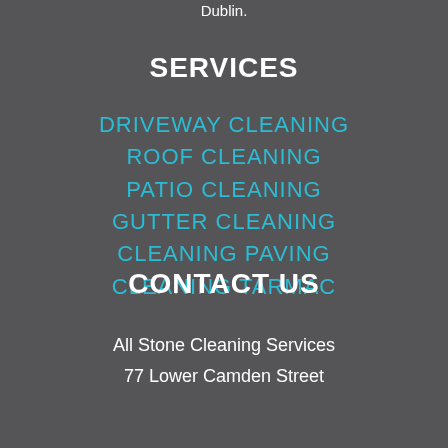Dublin.
SERVICES
DRIVEWAY CLEANING
ROOF CLEANING
PATIO CLEANING
GUTTER CLEANING
CLEANING PAVING
CLEANING TARMAC
CONTACT US
All Stone Cleaning Services
77 Lower Camden Street